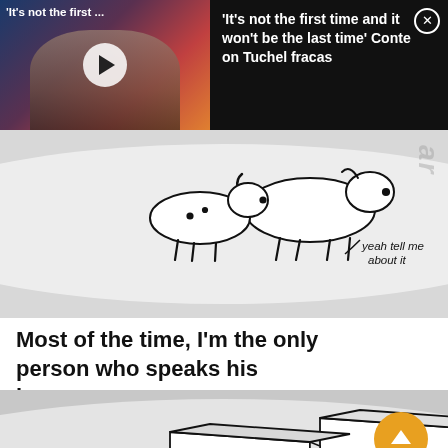[Figure (screenshot): Video thumbnail showing a man (Antonio Conte) at a press conference with a play button overlay. Label reads 'It's not the first ...']
'It's not the first time and it won't be the last time' Conte on Tuchel fracas
[Figure (illustration): Hand-drawn sketch of two dogs with speech bubble saying 'yeah tell me about it']
Most of the time, I'm the only person who speaks his language
[Figure (illustration): Hand-drawn sketch of a book titled 'Speaking Neos to Dummies' (or similar), with an orange scroll-up button nearby]